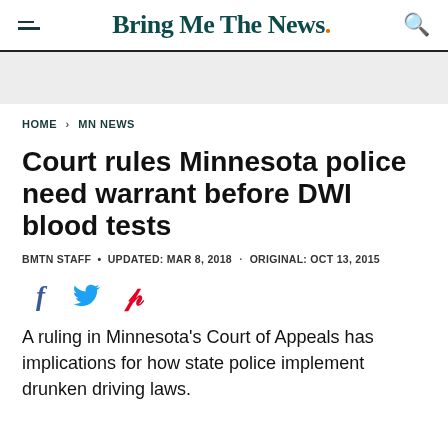Bring Me The News.
HOME > MN NEWS
Court rules Minnesota police need warrant before DWI blood tests
BMTN STAFF • UPDATED: MAR 8, 2018 · ORIGINAL: OCT 13, 2015
[Figure (infographic): Social media share icons: Facebook (f), Twitter (bird), Pinterest (P)]
A ruling in Minnesota's Court of Appeals has implications for how state police implement drunken driving laws.